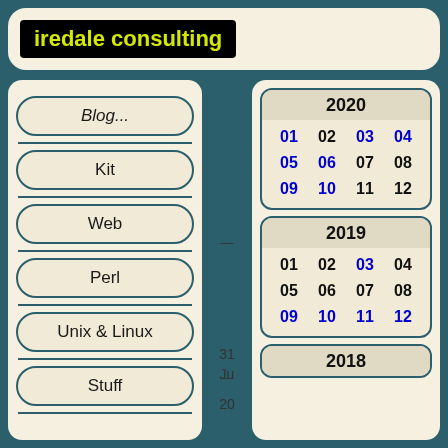iredale consulting
Blog...
Kit
Web
Perl
Unix & Linux
Stuff
| 2020 |
| --- |
| 01 | 02 | 03 | 04 |
| 05 | 06 | 07 | 08 |
| 09 | 10 | 11 | 12 |
| 2019 |
| --- |
| 01 | 02 | 03 | 04 |
| 05 | 06 | 07 | 08 |
| 09 | 10 | 11 | 12 |
| 2018 |
| --- |